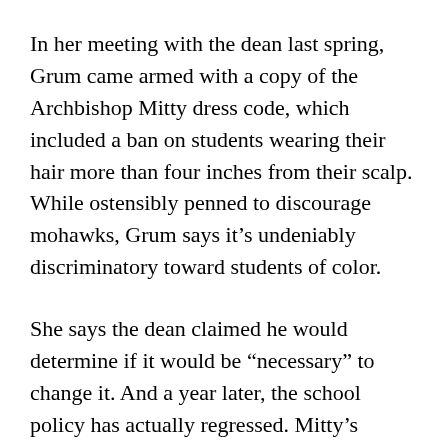In her meeting with the dean last spring, Grum came armed with a copy of the Archbishop Mitty dress code, which included a ban on students wearing their hair more than four inches from their scalp. While ostensibly penned to discourage mohawks, Grum says it's undeniably discriminatory toward students of color.
She says the dean claimed he would determine if it would be “necessary” to change it. And a year later, the school policy has actually regressed. Mitty’s website clearly states, “natural hair that stands out from the head more than three inches” is not allowed. Over the last year, then, a whole inch has been taken off the length of “permitted” natural hair.